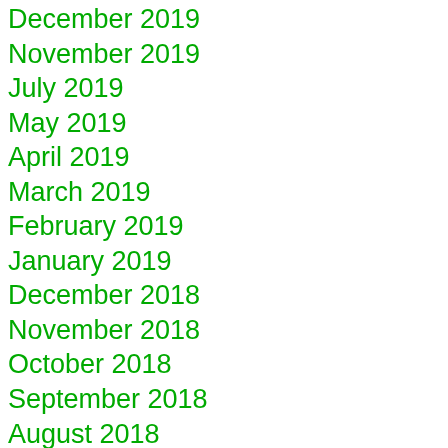December 2019
November 2019
July 2019
May 2019
April 2019
March 2019
February 2019
January 2019
December 2018
November 2018
October 2018
September 2018
August 2018
July 2018
June 2018
May 2018